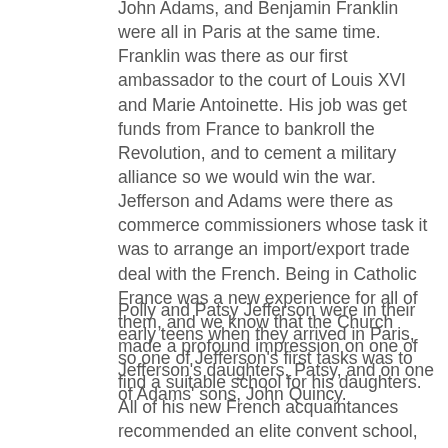John Adams, and Benjamin Franklin were all in Paris at the same time. Franklin was there as our first ambassador to the court of Louis XVI and Marie Antoinette. His job was get funds from France to bankroll the Revolution, and to cement a military alliance so we would win the war. Jefferson and Adams were there as commerce commissioners whose task it was to arrange an import/export trade deal with the French. Being in Catholic France was a new experience for all of them, and we know that the Church made a profound impression on one of Jefferson's daughters, Patsy, and on one of Adams' sons, John Quincy.
Polly and Patsy Jefferson were in their early teens when they arrived in Paris, so one of Jefferson's first tasks was to find a suitable school for his daughters. All of his new French acquaintances recommended an elite convent school, l'Abbaye Royal de Panthemont in the Faubourg Saint-Germain. There the girls studied